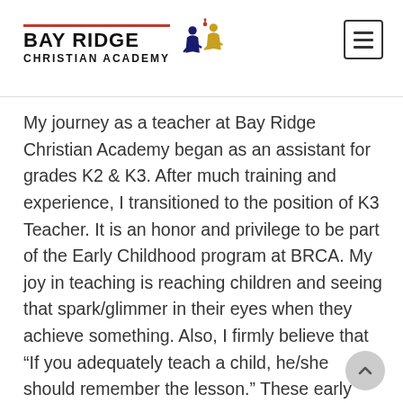Bay Ridge Christian Academy
My journey as a teacher at Bay Ridge Christian Academy began as an assistant for grades K2 & K3. After much training and experience, I transitioned to the position of K3 Teacher. It is an honor and privilege to be part of the Early Childhood program at BRCA. My joy in teaching is reaching children and seeing that spark/glimmer in their eyes when they achieve something. Also, I firmly believe that “If you adequately teach a child, he/she should remember the lesson.” These early years are an essential part of a child’s life, and my prayer is that as students enter my classroom, they